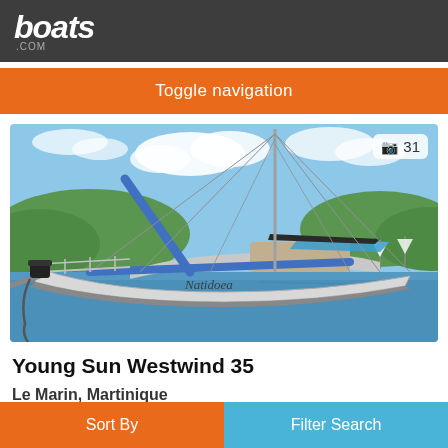boats.com
Toggle navigation
[Figure (photo): Sailboat named Natidoea moored in a bay with other sailboats in the background. Blue sky with clouds, green hills visible. Boat has blue masts and white hull. Photo count badge shows 31 photos.]
Young Sun Westwind 35
Le Marin, Martinique
Sort By  |  Filter Search